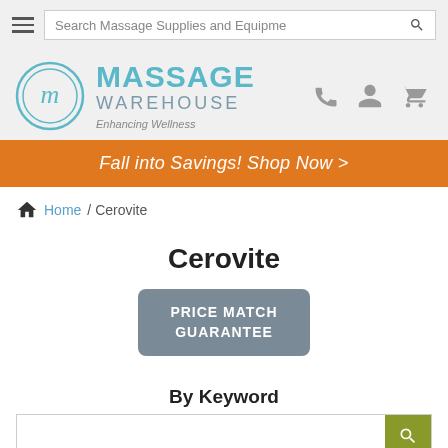Search Massage Supplies and Equipment
[Figure (logo): Massage Warehouse logo with circular M icon, teal MASSAGE WAREHOUSE text, and tagline Enhancing Wellness]
Fall into Savings! Shop Now >
Home / Cerovite
Cerovite
[Figure (other): Price Match Guarantee badge button in grey]
By Keyword